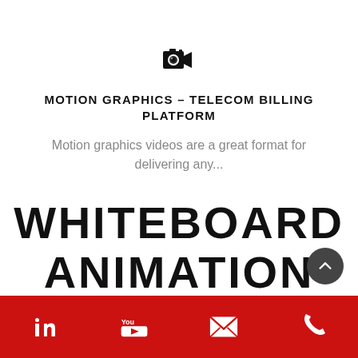[Figure (illustration): Video camera / film icon in black]
MOTION GRAPHICS – TELECOM BILLING PLATFORM
Motion graphics videos are a great format for delivering any...
WHITEBOARD ANIMATION
LinkedIn, YouTube, Email, Phone icons on red background